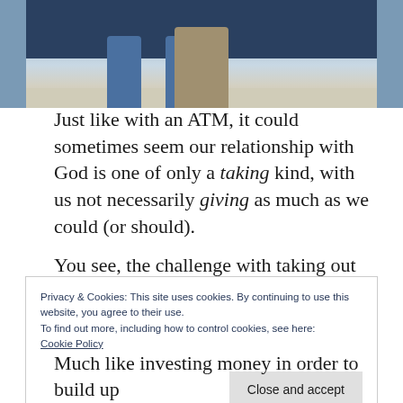[Figure (photo): Photo of a person standing between two blue cylindrical pillars in what appears to be a building lobby or transit area, with tiled floor and dark blue wall in background.]
Just like with an ATM, it could sometimes seem our relationship with God is one of only a taking kind, with us not necessarily giving as much as we could (or should).
You see, the challenge with taking out money from an ATM is that we must always ensure we have enough cash in our bank account to withdraw.
Privacy & Cookies: This site uses cookies. By continuing to use this website, you agree to their use.
To find out more, including how to control cookies, see here: Cookie Policy
Much like investing money in order to build up